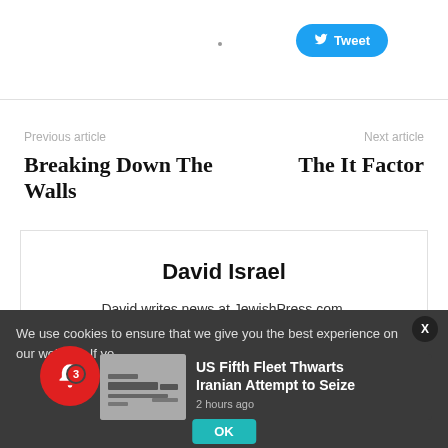[Figure (screenshot): Twitter Tweet button (blue rounded rectangle) with bird icon]
Previous article
Breaking Down The Walls
Next article
The It Factor
David Israel
David writes news at JewishPress.com.
We use cookies to ensure that we give you the best experience on our website. If yo
[Figure (screenshot): News thumbnail image showing a ship or naval vessel]
US Fifth Fleet Thwarts Iranian Attempt to Seize
2 hours ago